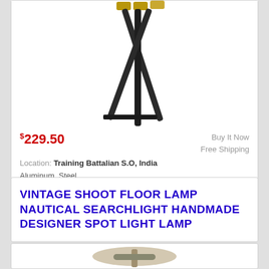[Figure (photo): Tripod floor lamp with dark metal legs and brass/gold fittings at the top, viewed from below]
$229.50
Buy It Now
Free Shipping
Location: Training Battalian S.O, India
Aluminum, Steel.
VINTAGE SHOOT FLOOR LAMP NAUTICAL SEARCHLIGHT HANDMADE DESIGNER SPOT LIGHT LAMP
[Figure (photo): Vintage nautical searchlight style floor lamp, partial view showing the lamp head]